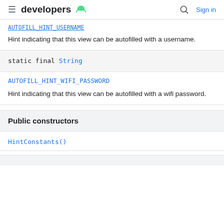developers [android logo] [search] Sign in
AUTOFILL_HINT_USERNAME (truncated link)
Hint indicating that this view can be autofilled with a username.
static final String
AUTOFILL_HINT_WIFI_PASSWORD
Hint indicating that this view can be autofilled with a wifi password.
Public constructors
HintConstants()